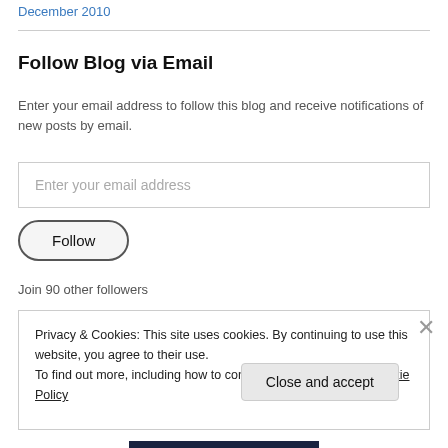December 2010
Follow Blog via Email
Enter your email address to follow this blog and receive notifications of new posts by email.
Enter your email address
Follow
Join 90 other followers
Privacy & Cookies: This site uses cookies. By continuing to use this website, you agree to their use.
To find out more, including how to control cookies, see here: Cookie Policy
Close and accept